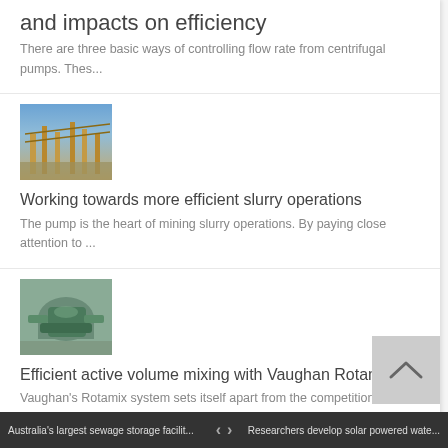and impacts on efficiency
There are three basic ways of controlling flow rate from centrifugal pumps. Thes...
[Figure (photo): Construction site with wooden framing structures and blue sky background]
Working towards more efficient slurry operations
The pump is the heart of mining slurry operations. By paying close attention to ...
[Figure (photo): Industrial pump equipment in green color, machinery installation]
Efficient active volume mixing with Vaughan Rotamix
Vaughan's Rotamix system sets itself apart from the competition with no moving...
[Figure (photo): Red rotary lobe pump device]
Vogelsang launches new rotary lobe pumps for demanding media
Australia's largest sewage storage facilit... < > Researchers develop solar powered wate...